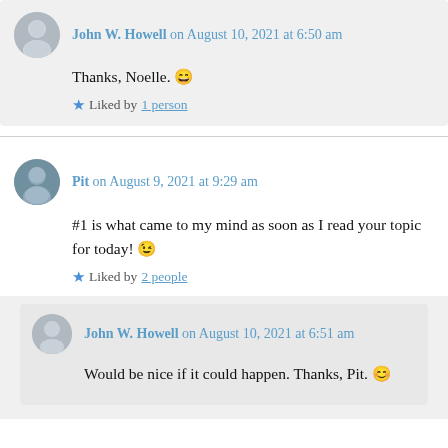John W. Howell on August 10, 2021 at 6:50 am
Thanks, Noelle. 😄
Liked by 1 person
Pit on August 9, 2021 at 9:29 am
#1 is what came to my mind as soon as I read your topic for today! 😉
Liked by 2 people
John W. Howell on August 10, 2021 at 6:51 am
Would be nice if it could happen. Thanks, Pit. 😊